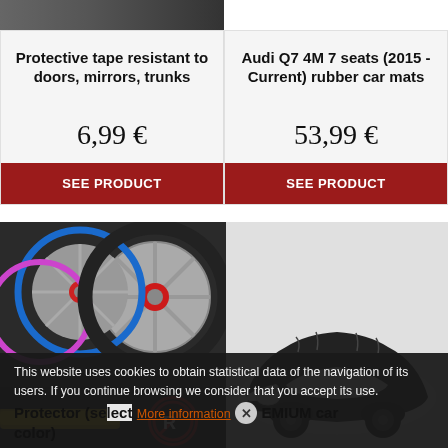[Figure (photo): Cropped top of a car part image, dark/grey tones]
Protective tape resistant to doors, mirrors, trunks
6,99 €
SEE PRODUCT
Audi Q7 4M 7 seats (2015 - Current) rubber car mats
53,99 €
SEE PRODUCT
[Figure (photo): Colorful car rims/wheels (RimSavers product) with logo overlay]
[Figure (photo): White car covered with a black car cover/protector]
This website uses cookies to obtain statistical data of the navigation of its users. If you continue browsing we consider that you accept its use.
More information
Protector (select color)
PREMIUM car